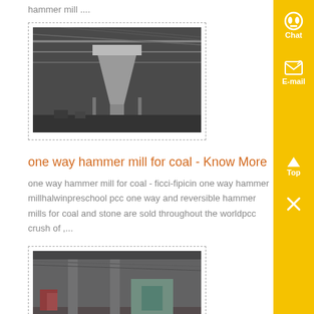hammer mill ....
[Figure (photo): Industrial facility interior with large conical silo or hopper structure, seen from below with steel roof trusses visible]
one way hammer mill for coal - Know More
one way hammer mill for coal - ficci-fipicin one way hammer millhalwinpreschool pcc one way and reversible hammer mills for coal and stone are sold throughout the worldpcc crush of ,...
[Figure (photo): Industrial workshop or factory floor with concrete pillars and machinery, dimly lit interior space]